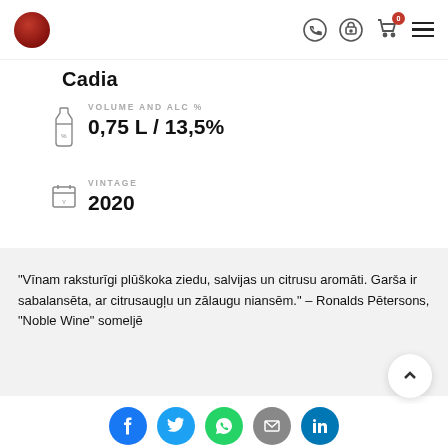Cadia — Noble Wine product page header with logo, phone, account, cart (0), menu icons
Cadia
VOLUME AND ALC %
0,75 L / 13,5%
VINTAGE
2020
“Vīnam raksturīgi plūškoka ziedu, salvijas un citrusu aromāti. Garša ir sabalansēta, ar citrusaugļu un zālaugu niansēm.” – Ronalds Pētersons, “Noble Wine” somелjē
Social share buttons: Facebook, Twitter, WhatsApp, Email, LinkedIn